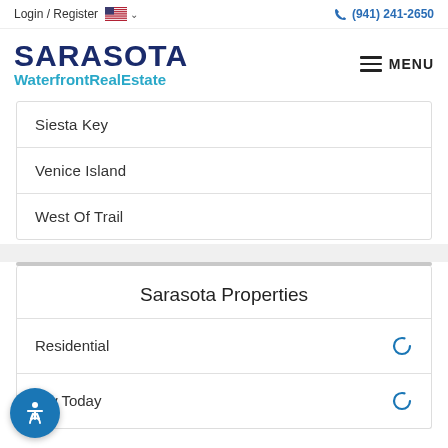Login / Register  (941) 241-2650
SARASOTA WaterfrontRealEstate
Siesta Key
Venice Island
West Of Trail
Sarasota Properties
Residential
iew Today